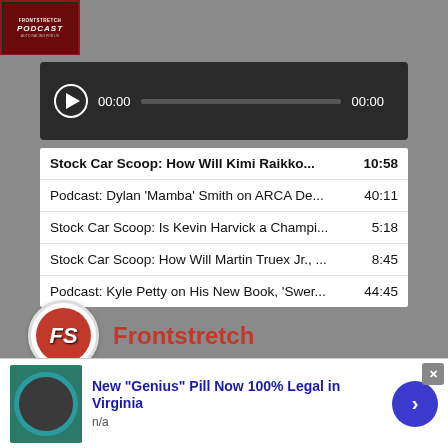[Figure (screenshot): Frontstretch Podcast thumbnail image with red background and logo]
[Figure (screenshot): Audio player bar with play button, time display 00:00 / 00:00 and progress bar on dark background]
Stock Car Scoop: How Will Kimi Raikko... 10:58
Podcast: Dylan 'Mamba' Smith on ARCA De... 40:11
Stock Car Scoop: Is Kevin Harvick a Champi... 5:18
Stock Car Scoop: How Will Martin Truex Jr., ... 8:45
Podcast: Kyle Petty on His New Book, 'Swer... 44:45
[Figure (logo): Frontstretch FS circular logo in red with white text]
Frontstretch
[Figure (photo): Frontstretch banner image with person wearing green G1 branded cap]
[Figure (screenshot): Advertisement banner: New 'Genius' Pill Now 100% Legal in Virginia with image and arrow button, n/a text]